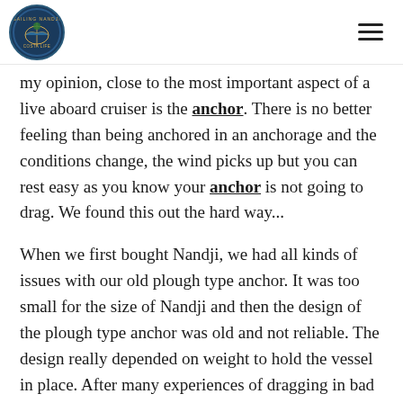Sailing Nandji (logo) + hamburger menu
my opinion, close to the most important aspect of a live aboard cruiser is the anchor. There is no better feeling than being anchored in an anchorage and the conditions change, the wind picks up but you can rest easy as you know your anchor is not going to drag. We found this out the hard way...
When we first bought Nandji, we had all kinds of issues with our old plough type anchor. It was too small for the size of Nandji and then the design of the plough type anchor was old and not reliable. The design really depended on weight to hold the vessel in place. After many experiences of dragging in bad conditions, we used to have to have someone on anchor watch when the weather turned for the worse. After having a close